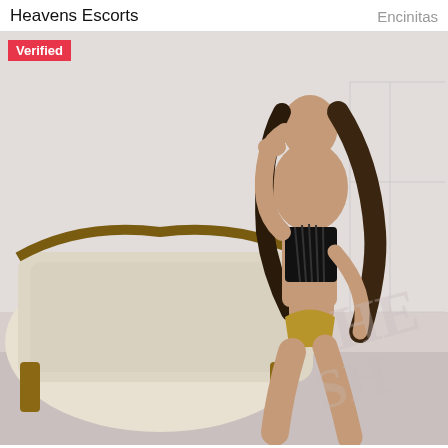Heavens Escorts    Encinitas
[Figure (photo): A woman with long dark hair posing on an ornate cream-colored tufted sofa, wearing a black strappy top and gold strappy bottoms, against a white background. A watermark reading partially visible large letters appears in the lower right of the image. A red 'Verified' badge is overlaid in the top-left corner.]